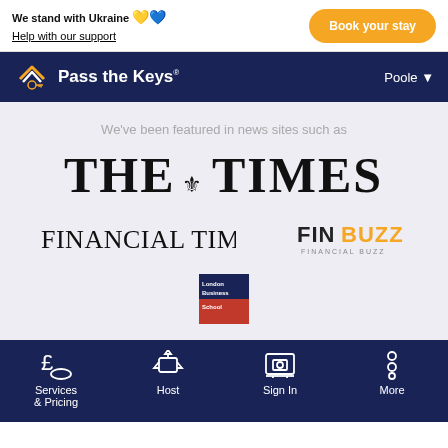We stand with Ukraine 💛💙
Help with our support
Book your stay
[Figure (logo): Pass the Keys logo with house icon]
Poole ▼
We've been featured in news sites such as
[Figure (logo): THE TIMES newspaper logo with royal crest]
[Figure (logo): FINANCIAL TIMES logo]
[Figure (logo): FINBUZZ Financial Buzz logo]
[Figure (logo): London Business School logo]
Services & Pricing
Host
Sign In
More